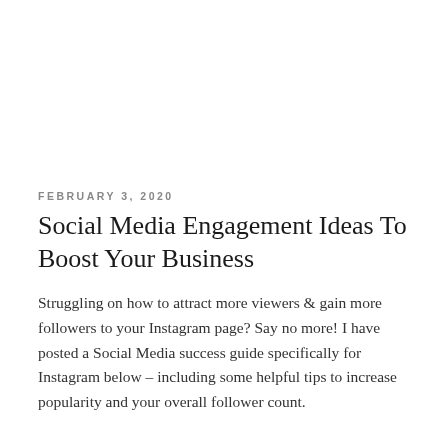FEBRUARY 3, 2020
Social Media Engagement Ideas To Boost Your Business
Struggling on how to attract more viewers & gain more followers to your Instagram page? Say no more! I have posted a Social Media success guide specifically for Instagram below – including some helpful tips to increase popularity and your overall follower count.